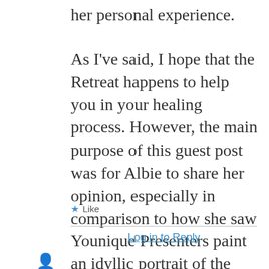her personal experience.
As I've said, I hope that the Retreat happens to help you in your healing process. However, the main purpose of this guest post was for Albie to share her opinion, especially in comparison to how she saw Younique Presenters paint an idyllic portrait of the Retreat.
★ Like
Log in to Reply